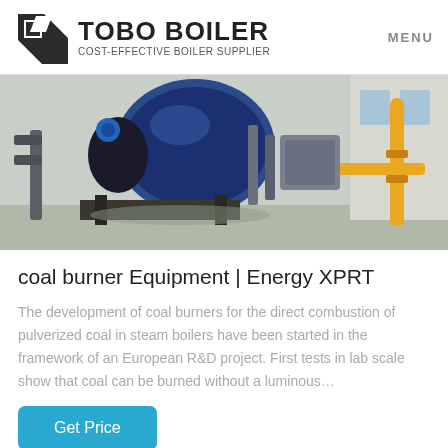TOBO BOILER COST-EFFECTIVE BOILER SUPPLIER | MENU
[Figure (photo): Industrial boiler room with large blue cylindrical boiler, yellow gas pipes, and mechanical equipment on a concrete floor.]
coal burner Equipment | Energy XPRT
The development of coal burners for the direct combustion of pulverized coal in steam boilers have been started in the framework of an European R&D project. First tests in lab scale show that coal can be burned without a luminous…
Get Price